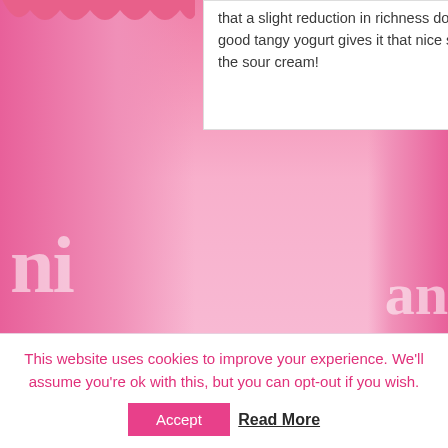that a slight reduction in richness does not affect the texture. And a good tangy yogurt gives it that nice slightly 'sour' note as well as the sour cream!
Reply
VDC
Thursday May 24th, 2012 at 13:03
Halloechen,
Will das Rezept unbedingt ausprobieren, aber sind es denn nun 428 g Zucker oder 328 g?
Irgendwo in den Kommentaren schreibst Du was von 2,1/4 cups sind 328 g im Rezept steht aber
428.
This website uses cookies to improve your experience. We'll assume you're ok with this, but you can opt-out if you wish.
Accept
Read More